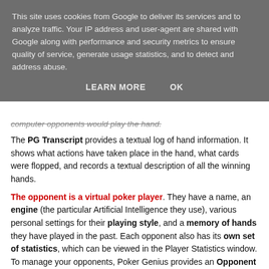This site uses cookies from Google to deliver its services and to analyze traffic. Your IP address and user-agent are shared with Google along with performance and security metrics to ensure quality of service, generate usage statistics, and to detect and address abuse.
LEARN MORE   OK
computer opponents would play the hand.
The PG Transcript provides a textual log of hand information. It shows what actions have taken place in the hand, what cards were flopped, and records a textual description of all the winning hands.
The opponent is a virtual poker player. They have a name, an engine (the particular Artificial Intelligence they use), various personal settings for their playing style, and a memory of hands they have played in the past. Each opponent also has its own set of statistics, which can be viewed in the Player Statistics window. To manage your opponents, Poker Genius provides an Opponent Manager which you can use to create, delete, import, export, and customize your computer opponents. Opponent Settings enables you to make